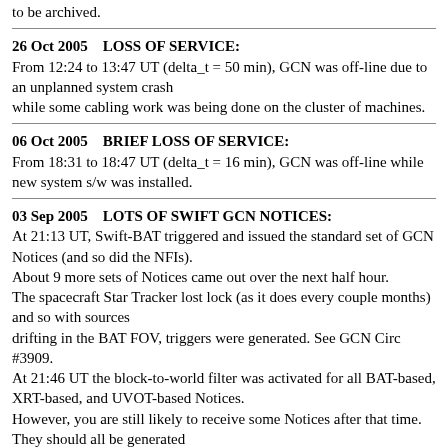to be archived.
26 Oct 2005    LOSS OF SERVICE:
From 12:24 to 13:47 UT (delta_t = 50 min), GCN was off-line due to an unplanned system crash
while some cabling work was being done on the cluster of machines.
06 Oct 2005    BRIEF LOSS OF SERVICE:
From 18:31 to 18:47 UT (delta_t = 16 min), GCN was off-line while new system s/w was installed.
03 Sep 2005    LOTS OF SWIFT GCN NOTICES:
At 21:13 UT, Swift-BAT triggered and issued the standard set of GCN Notices (and so did the NFIs).
About 9 more sets of Notices came out over the next half hour.
The spacecraft Star Tracker lost lock (as it does every couple months) and so with sources
drifting in the BAT FOV, triggers were generated. See GCN Circ #3909.
At 21:46 UT the block-to-world filter was activated for all BAT-based, XRT-based, and UVOT-based Notices.
However, you are still likely to receive some Notices after that time. They should all be generated
before that time however. The delay is due tot he way the sendmail